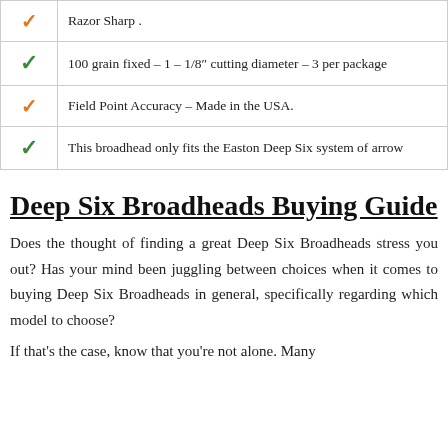| ✓ | Razor Sharp . |
| ✓ | 100 grain fixed – 1 – 1/8″ cutting diameter – 3 per package |
| ✓ | Field Point Accuracy – Made in the USA. |
| ✓ | This broadhead only fits the Easton Deep Six system of arrow |
Deep Six Broadheads Buying Guide
Does the thought of finding a great Deep Six Broadheads stress you out? Has your mind been juggling between choices when it comes to buying Deep Six Broadheads in general, specifically regarding which model to choose?
If that's the case, know that you're not alone. Many